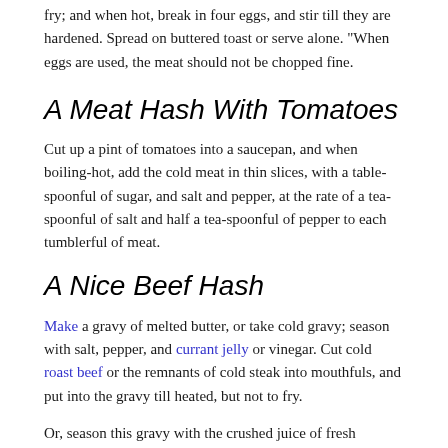fry; and when hot, break in four eggs, and stir till they are hardened. Spread on buttered toast or serve alone. "When eggs are used, the meat should not be chopped fine.
A Meat Hash With Tomatoes
Cut up a pint of tomatoes into a saucepan, and when boiling-hot, add the cold meat in thin slices, with a table-spoonful of sugar, and salt and pepper, at the rate of a tea-spoonful of salt and half a tea-spoonful of pepper to each tumblerful of meat.
A Nice Beef Hash
Make a gravy of melted butter, or take cold gravy; season with salt, pepper, and currant jelly or vinegar. Cut cold roast beef or the remnants of cold steak into mouthfuls, and put into the gravy till heated, but not to fry.
Or, season this gravy with the crushed juice of fresh tomatoes or tomato catsup.